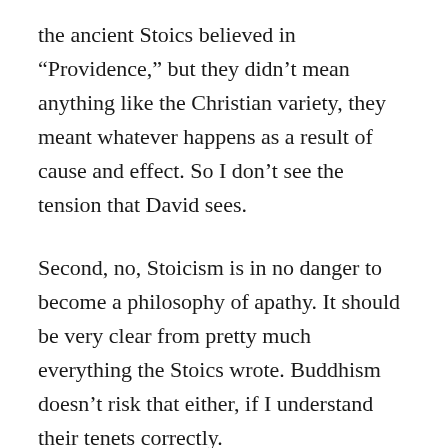the ancient Stoics believed in “Providence,” but they didn’t mean anything like the Christian variety, they meant whatever happens as a result of cause and effect. So I don’t see the tension that David sees.
Second, no, Stoicism is in no danger to become a philosophy of apathy. It should be very clear from pretty much everything the Stoics wrote. Buddhism doesn’t risk that either, if I understand their tenets correctly.
I honestly don’t see why Stoicism isn’t helpful in terms of social justice. One of the four virtues is that